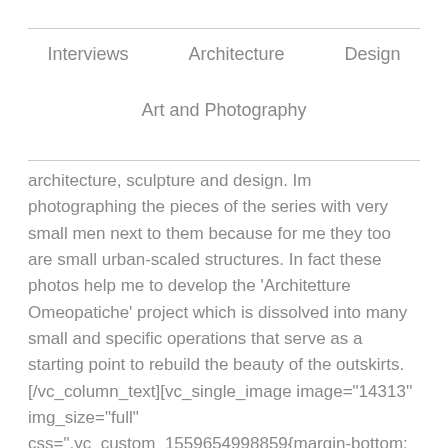Interviews   Architecture   Design
Art and Photography
architecture, sculpture and design. Im photographing the pieces of the series with very small men next to them because for me they too are small urban-scaled structures. In fact these photos help me to develop the 'Architetture Omeopatiche' project which is dissolved into many small and specific operations that serve as a starting point to rebuild the beauty of the outskirts. [/vc_column_text][vc_single_image image="14313'' img_size="full" css=".vc_custom_1559654998859{margin-bottom: 0px !important;border-bottom-width: 0px